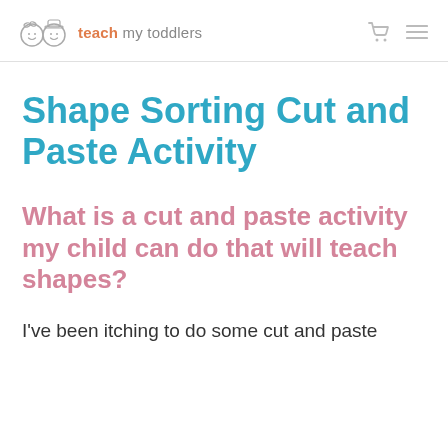teach my toddlers
Shape Sorting Cut and Paste Activity
What is a cut and paste activity my child can do that will teach shapes?
I've been itching to do some cut and paste